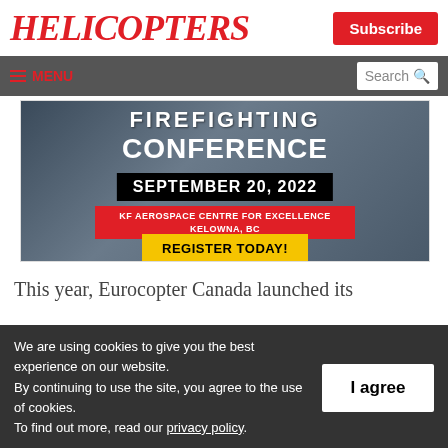HELICOPTERS
Subscribe
≡ MENU | Search
[Figure (infographic): Firefighting Conference banner ad: FIREFIGHTING CONFERENCE, SEPTEMBER 20, 2022, KF AEROSPACE CENTRE FOR EXCELLENCE KELOWNA, BC, REGISTER TODAY!]
This year, Eurocopter Canada launched its
We are using cookies to give you the best experience on our website. By continuing to use the site, you agree to the use of cookies. To find out more, read our privacy policy.
I agree